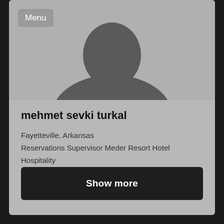[Figure (illustration): Default grey silhouette avatar of a person (head and shoulders) on a grey background]
Menu
mehmet sevki turkal
Fayetteville, Arkansas
Reservations Supervisor Meder Resort Hotel
Hospitality
Show more